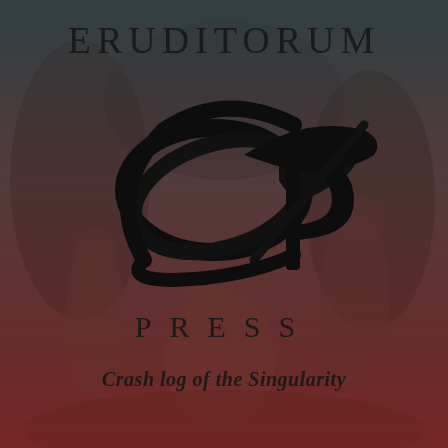[Figure (logo): Eruditorum Press logo cover page with dark classical painting background (figures in a forest/mythological scene), gradient overlay transitioning from dark teal-grey at top to deep red-brown at bottom, large stylized 'EP' monogram in black calligraphic script center, text 'ERUDITORUM' at top, 'PRESS' below logo, tagline 'Crash log of the Singularity' at bottom]
ERUDITORUM
PRESS
Crash log of the Singularity